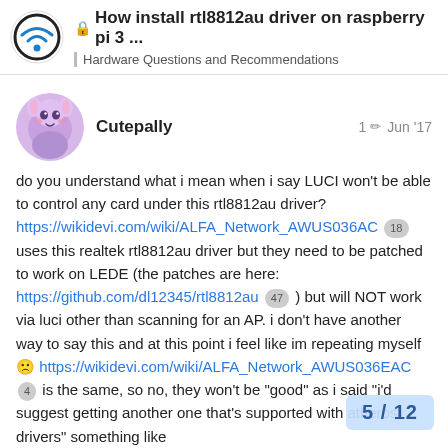🔒 How install rtl8812au driver on raspberry pi 3 ... | Hardware Questions and Recommendations
Cutepally   1 ✏  Jun '17
do you understand what i mean when i say LUCI won't be able to control any card under this rtl8812au driver? https://wikidevi.com/wiki/ALFA_Network_AWUS036AC 18 uses this realtek rtl8812au driver but they need to be patched to work on LEDE (the patches are here: https://github.com/dl12345/rtl8812au 47 ) but will NOT work via luci other than scanning for an AP. i don't have another way to say this and at this point i feel like im repeating myself 🙁 https://wikidevi.com/wiki/ALFA_Network_AWUS036EAC 4 is the same, so no, they won't be "good" as i said "i'd suggest getting another one that's supported with atheros drivers" something like https://wikidevi.com/wiki/ALFA_Network_A maybe? i couldn't tell you which device yo...